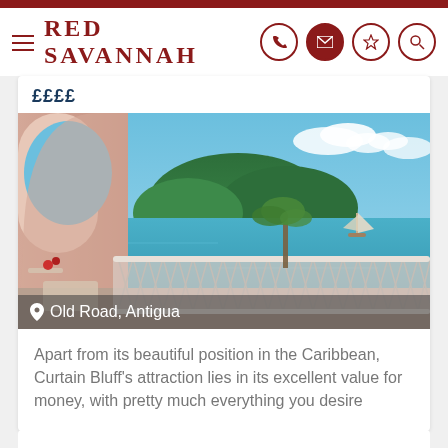Red Savannah
££££
[Figure (photo): Terrace view of Caribbean sea with white lattice railing, palm trees, sailboat, and green hillside island in background. Location: Old Road, Antigua]
Old Road, Antigua
Apart from its beautiful position in the Caribbean, Curtain Bluff's attraction lies in its excellent value for money, with pretty much everything you desire